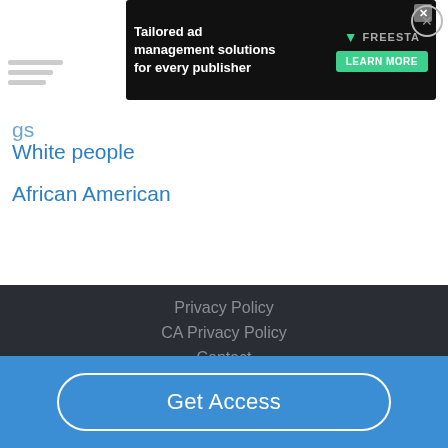[Figure (screenshot): Advertisement banner: 'Tailored ad management solutions for every publisher' with FREESTA logo and LEARN MORE button on dark background]
White people
African American
Privacy Policy
CA Privacy Policy
Contact
Terms of Service
Get Access